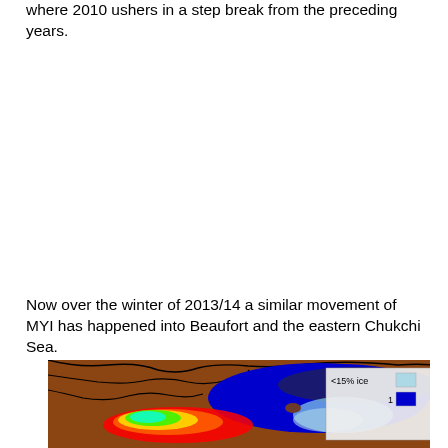where 2010 ushers in a step break from the preceding years.
Now over the winter of 2013/14 a similar movement of MYI has happened into Beaufort and the eastern Chukchi Sea.
[Figure (map): Arctic sea ice map showing the Beaufort and Chukchi Sea region with a color legend indicating ice concentration. Legend shows <15% ice in light blue, and a blue bar labeled 1. The map shows brown land areas and blue/multi-colored ocean ice areas with rainbow-colored MYI region at lower left.]